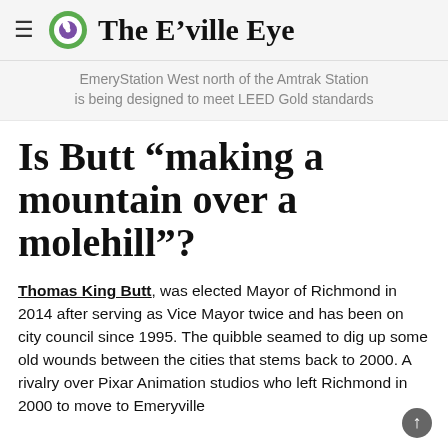The E'ville Eye
EmeryStation West north of the Amtrak Station is being designed to meet LEED Gold standards
Is Butt “making a mountain over a molehill”?
Thomas King Butt, was elected Mayor of Richmond in 2014 after serving as Vice Mayor twice and has been on city council since 1995. The quibble seamed to dig up some old wounds between the cities that stems back to 2000. A rivalry over Pixar Animation studios who left Richmond in 2000 to move to Emeryville